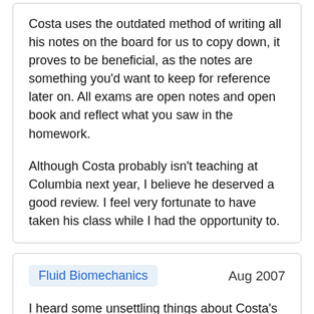Costa uses the outdated method of writing all his notes on the board for us to copy down, it proves to be beneficial, as the notes are something you'd want to keep for reference later on. All exams are open notes and open book and reflect what you saw in the homework.
Although Costa probably isn't teaching at Columbia next year, I believe he deserved a good review. I feel very fortunate to have taken his class while I had the opportunity to.
Fluid Biomechanics   Aug 2007
I heard some unsettling things about Costa's Biomech class, but I actually ended up enjoying the course more than many of the other BME